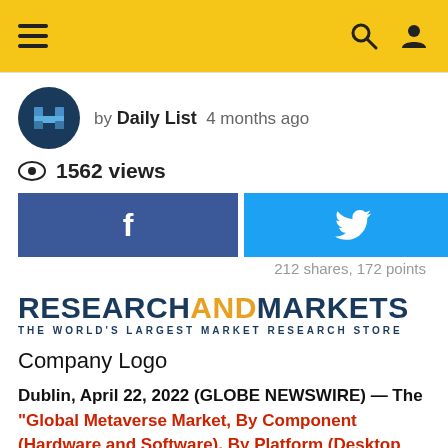Navigation bar with hamburger menu, search and user icons
by Daily List  4 months ago
1562 views
[Figure (infographic): Social sharing buttons: Facebook (blue), Twitter (light blue), upvote and downvote arrows. 212 shares, 172 points.]
[Figure (logo): ResearchAndMarkets logo - THE WORLD'S LARGEST MARKET RESEARCH STORE]
Company Logo
Dublin, April 22, 2022 (GLOBE NEWSWIRE) — The "Global Metaverse Market, By Component (Hardware and Software), By Platform (Desktop